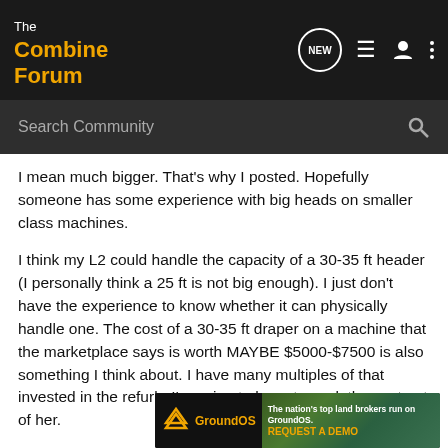The Combine Forum
I mean much bigger. That's why I posted. Hopefully someone has some experience with big heads on smaller class machines.
I think my L2 could handle the capacity of a 30-35 ft header (I personally think a 25 ft is not big enough). I just don't have the experience to know whether it can physically handle one. The cost of a 30-35 ft draper on a machine that the marketplace says is worth MAYBE $5000-$7500 is also something I think about. I have many multiples of that invested in the refurb. I'm going to have to work the cost out of her.
I think normal conditions will likely substantiate and maybe even inc... improve... need
[Figure (screenshot): GroundOS advertisement banner: 'The nation's top land brokers run on GroundOS. REQUEST A DEMO']